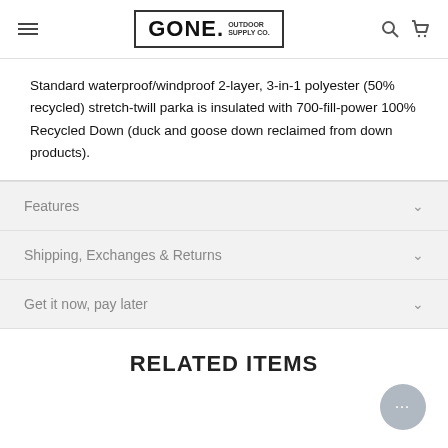GONE. OUTDOOR SUPPLY CO.
Standard waterproof/windproof 2-layer, 3-in-1 polyester (50% recycled) stretch-twill parka is insulated with 700-fill-power 100% Recycled Down (duck and goose down reclaimed from down products).
Features
Shipping, Exchanges & Returns
Get it now, pay later
RELATED ITEMS